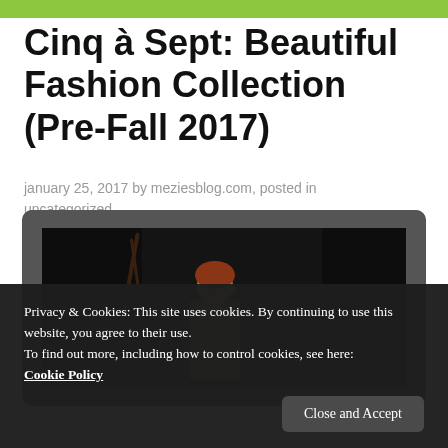Cinq à Sept: Beautiful Fashion Collection (Pre-Fall 2017)
january 25, 2017 by meziesblog.com, posted in uncategorized
[Figure (photo): Video player showing a woman with auburn hair standing in front of dark curtains, wearing a khaki jacket. The video is embedded in a dark rounded frame.]
Privacy & Cookies: This site uses cookies. By continuing to use this website, you agree to their use.
To find out more, including how to control cookies, see here: Cookie Policy
Close and Accept